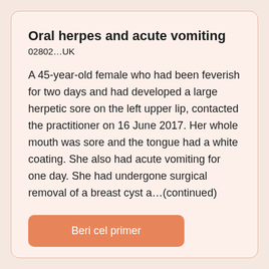Oral herpes and acute vomiting
02802…UK
A 45-year-old female who had been feverish for two days and had developed a large herpetic sore on the left upper lip, contacted the practitioner on 16 June 2017. Her whole mouth was sore and the tongue had a white coating. She also had acute vomiting for one day. She had undergone surgical removal of a breast cyst a…(continued)
Beri cel primer